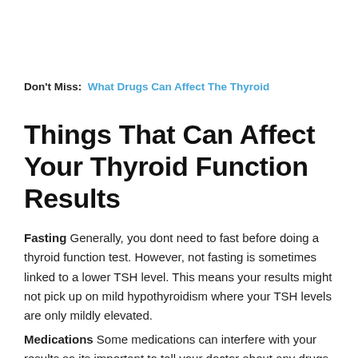Don't Miss:  What Drugs Can Affect The Thyroid
Things That Can Affect Your Thyroid Function Results
Fasting Generally, you dont need to fast before doing a thyroid function test. However, not fasting is sometimes linked to a lower TSH level. This means your results might not pick up on mild hypothyroidism where your TSH levels are only mildly elevated.
Medications Some medications can interfere with your results so its important to tell your doctor about any drugs